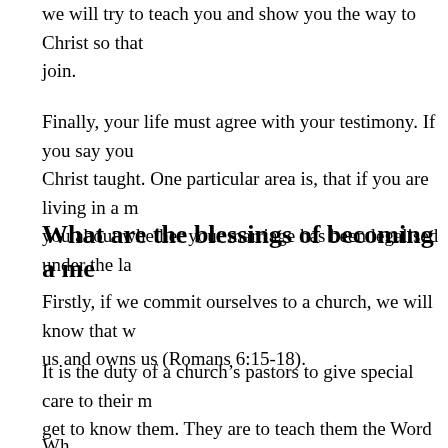we will try to teach you and show you the way to Christ so that join.
Finally, your life must agree with your testimony. If you say you Christ taught. One particular area is, that if you are living in a m you about whether your marriage has been legalised under the la
What are the blessings of becoming a me
Firstly, if we commit ourselves to a church, we will know that w us and owns us (Romans 6:15-18).
It is the duty of a church’s pastors to give special care to their m get to know them. They are to teach them the Word of God and and situations. They are to seek to encourage them and show the grow as believers. The Bible says that church leaders will have t care of their people (1 Peter 5:1-4).
Wh...